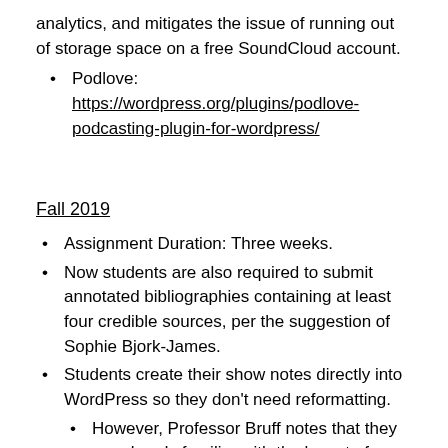analytics, and mitigates the issue of running out of storage space on a free SoundCloud account.
Podlove: https://wordpress.org/plugins/podlove-podcasting-plugin-for-wordpress/
Fall 2019
Assignment Duration: Three weeks.
Now students are also required to submit annotated bibliographies containing at least four credible sources, per the suggestion of Sophie Bjork-James.
Students create their show notes directly into WordPress so they don't need reformatting.
However, Professor Bruff notes that they are already familiar with the layout of WordPress because they are consistently blogging